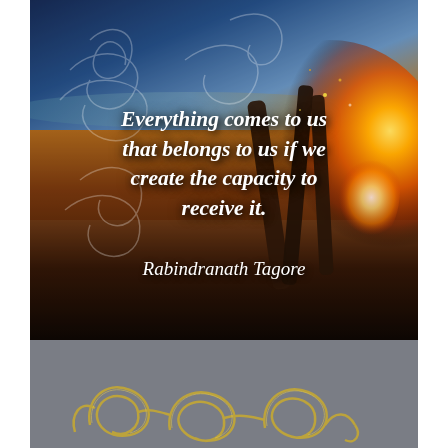[Figure (photo): A glowing bonfire on a beach at sunset/dusk with driftwood logs, warm orange and golden flames, blue sky background with decorative white swirl overlays on the photo]
Everything comes to us that belongs to us if we create the capacity to receive it.
Rabindranath Tagore
[Figure (illustration): Decorative golden/yellow swirl/scroll flourish design on a grey background at the bottom of the page]